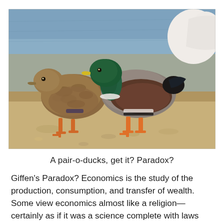[Figure (photo): Two mallard ducks (a brown female on the left and a green-headed male in the center) standing on a stone ledge near water, with a white bird partially visible on the right.]
A pair-o-ducks, get it? Paradox?
Giffen's Paradox? Economics is the study of the production, consumption, and transfer of wealth. Some view economics almost like a religion—certainly as if it was a science complete with laws and principles, predicting behavior and outcome.